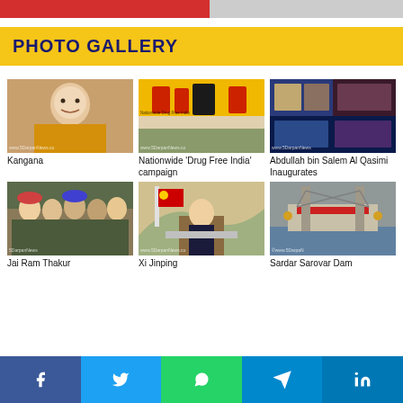[Figure (other): Progress bar with red and gray segments at top of page]
PHOTO GALLERY
[Figure (photo): Kangana Ranaut photo]
Kangana
[Figure (photo): Nationwide 'Drug Free India' campaign event collage]
Nationwide 'Drug Free India' campaign
[Figure (photo): Abdullah bin Salem Al Qasimi Inaugurates event]
Abdullah bin Salem Al Qasimi Inaugurates
[Figure (photo): Jai Ram Thakur group photo]
Jai Ram Thakur
[Figure (photo): Xi Jinping at podium with Chinese flag]
Xi Jinping
[Figure (photo): Sardar Sarovar Dam aerial/side view]
Sardar Sarovar Dam
[Figure (infographic): Social media share bar with Facebook, Twitter, WhatsApp, Telegram, LinkedIn buttons]